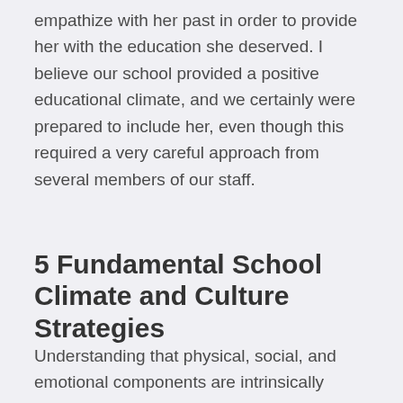empathize with her past in order to provide her with the education she deserved. I believe our school provided a positive educational climate, and we certainly were prepared to include her, even though this required a very careful approach from several members of our staff.
5 Fundamental School Climate and Culture Strategies
Understanding that physical, social, and emotional components are intrinsically linked to behavior management and academic performance, doing your part to support a